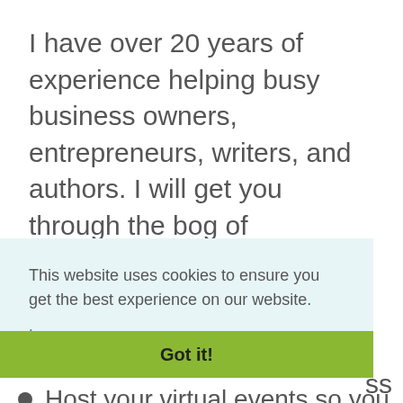I have over 20 years of experience helping busy business owners, entrepreneurs, writers, and authors. I will get you through the bog of administrative tasks necessary to run
This website uses cookies to ensure you get the best experience on our website.

Learn more
ss
Got it!
Host your virtual events so you